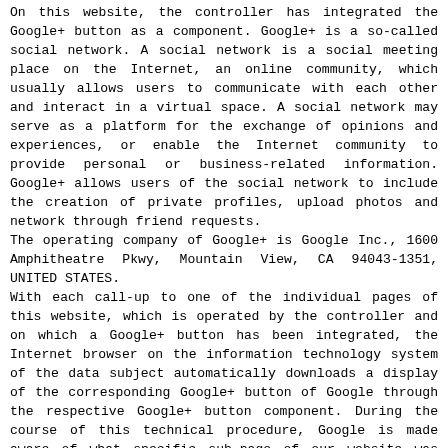On this website, the controller has integrated the Google+ button as a component. Google+ is a so-called social network. A social network is a social meeting place on the Internet, an online community, which usually allows users to communicate with each other and interact in a virtual space. A social network may serve as a platform for the exchange of opinions and experiences, or enable the Internet community to provide personal or business-related information. Google+ allows users of the social network to include the creation of private profiles, upload photos and network through friend requests.
The operating company of Google+ is Google Inc., 1600 Amphitheatre Pkwy, Mountain View, CA 94043-1351, UNITED STATES.
With each call-up to one of the individual pages of this website, which is operated by the controller and on which a Google+ button has been integrated, the Internet browser on the information technology system of the data subject automatically downloads a display of the corresponding Google+ button of Google through the respective Google+ button component. During the course of this technical procedure, Google is made aware of what specific sub-page of our website was visited by the data subject. More